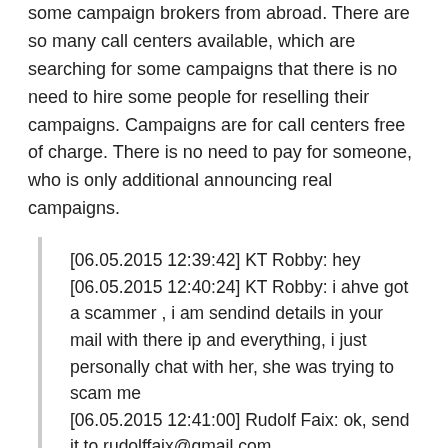some campaign brokers from abroad. There are so many call centers available, which are searching for some campaigns that there is no need to hire some people for reselling their campaigns. Campaigns are for call centers free of charge. There is no need to pay for someone, who is only additional announcing real campaigns.
[06.05.2015 12:39:42] KT Robby: hey [06.05.2015 12:40:24] KT Robby: i ahve got a scammer , i am sendind details in your mail with there ip and everything, i just personally chat with her, she was trying to scam me [06.05.2015 12:41:00] Rudolf Faix: ok, send it to rudolffaix@gmail.com [06.05.2015 12:42:17] KT Robby: rfx53@gmx.at [06.05.2015 12:42:23] KT Robby: sir this is your mail id [06.05.2015 12:43:40] Rudolf Faix: you can